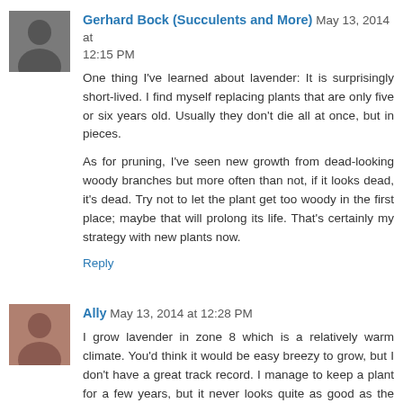Gerhard Bock (Succulents and More) May 13, 2014 at 12:15 PM
One thing I've learned about lavender: It is surprisingly short-lived. I find myself replacing plants that are only five or six years old. Usually they don't die all at once, but in pieces.
As for pruning, I've seen new growth from dead-looking woody branches but more often than not, if it looks dead, it's dead. Try not to let the plant get too woody in the first place; maybe that will prolong its life. That's certainly my strategy with new plants now.
Reply
Ally May 13, 2014 at 12:28 PM
I grow lavender in zone 8 which is a relatively warm climate. You'd think it would be easy breezy to grow, but I don't have a great track record. I manage to keep a plant for a few years, but it never looks quite as good as the first year it's installed. I love it, so I'll keep at it. Do you have any